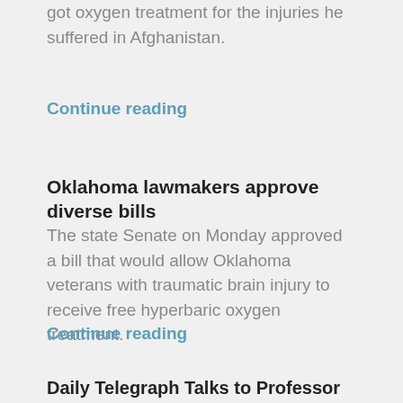got oxygen treatment for the injuries he suffered in Afghanistan.
Continue reading
Oklahoma lawmakers approve diverse bills
The state Senate on Monday approved a bill that would allow Oklahoma veterans with traumatic brain injury to receive free hyperbaric oxygen treatment.
Continue reading
Daily Telegraph Talks to Professor James about Oxygen Therapy
Brain injured veteran Ben Parkinson can now walk up